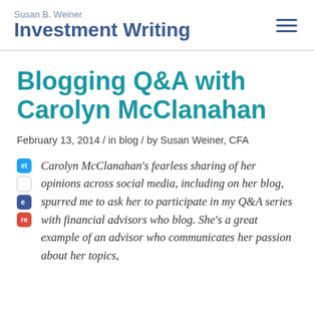Susan B. Weiner Investment Writing
Blogging Q&A with Carolyn McClanahan
February 13, 2014 / in blog / by Susan Weiner, CFA
Carolyn McClanahan’s fearless sharing of her opinions across social media, including on her blog, spurred me to ask her to participate in my Q&A series with financial advisors who blog. She’s a great example of an advisor who communicates her passion about her topics,